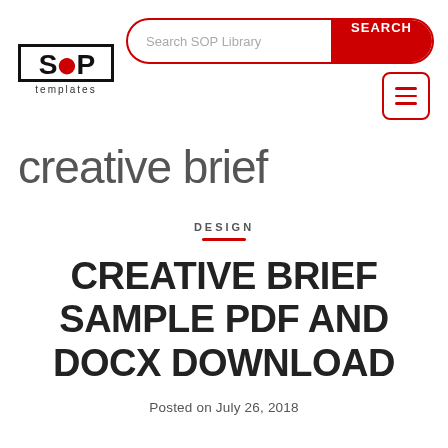[Figure (logo): SOP Templates logo: black bordered box with 'SOP' text (red circle dot between S and P), 'templates' in small text below]
[Figure (screenshot): Search bar with 'Search SOP Library' placeholder text and red SEARCH button, plus hamburger menu icon with red border]
creative brief
DESIGN
CREATIVE BRIEF SAMPLE PDF AND DOCX DOWNLOAD
Posted on July 26, 2018